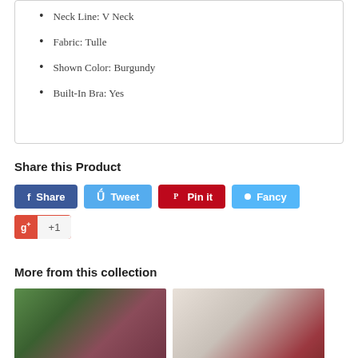Neck Line: V Neck
Fabric: Tulle
Shown Color: Burgundy
Built-In Bra: Yes
Share this Product
[Figure (screenshot): Social sharing buttons: Facebook Share (blue), Twitter Tweet (light blue), Pinterest Pin it (red), Fancy (light blue), Google +1 (red/white)]
More from this collection
[Figure (photo): Photo of woman in dark dress at outdoor event]
[Figure (photo): Photo of blonde woman taking selfie in red dress indoors]